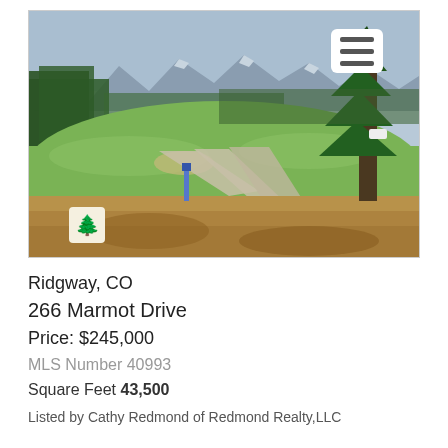[Figure (photo): Outdoor photo of a golf course or open field with green and dry grass, a winding path, a blue marker post, conifer trees on the left, a large pine tree on the right, and a mountain range with blue sky in the background.]
Ridgway, CO
266 Marmot Drive
Price: $245,000
MLS Number 40993
Square Feet 43,500
Listed by Cathy Redmond of Redmond Realty,LLC